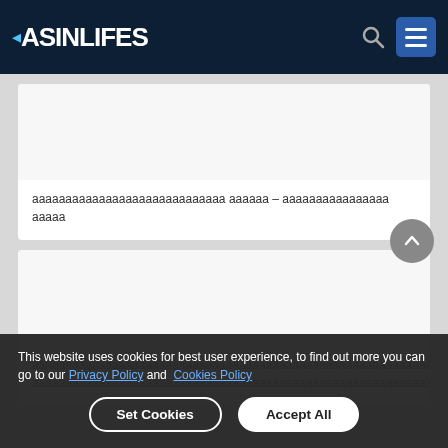ASINLIFES
ааааааааааааааааааааааааааааа аааааа – аааааааааааааааа ааааа
аааааааааааааааааааааааааааааааааааааааааааааааааааааааааааааааааааааааааааааааааааа аааааааааааааааааааааааааааааааааааааааааааааааааааааааааааааааааааааааааааааааааааааааааааааааааааааааааааааааааааааааааааааааааааааааааааааааааааааааааааааааааааааааааааааааааааааааааааааааааааааааааааааааааааааааааааааааааааааааа
This website uses cookies for best user experience, to find out more you can go to our Privacy Policy and Cookies Policy
Set Cookies
Accept All